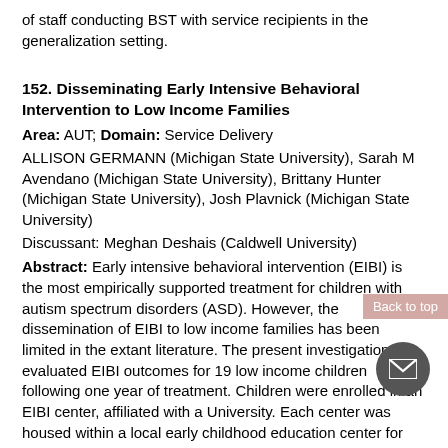of staff conducting BST with service recipients in the generalization setting.
152. Disseminating Early Intensive Behavioral Intervention to Low Income Families
Area: AUT; Domain: Service Delivery
ALLISON GERMANN (Michigan State University), Sarah M Avendano (Michigan State University), Brittany Hunter (Michigan State University), Josh Plavnick (Michigan State University)
Discussant: Meghan Deshais (Caldwell University)
Abstract: Early intensive behavioral intervention (EIBI) is the most empirically supported treatment for children with autism spectrum disorders (ASD). However, the dissemination of EIBI to low income families has been limited in the extant literature. The present investigation evaluated EIBI outcomes for 19 low income children following one year of treatment. Children were enrolled in an EIBI center, affiliated with a University. Each center was housed within a local early childhood education center for typically developing children. All participants received per week of EIBI services for the year. Measures included Scales of Early Learning, Vineland Adaptive Behavior and the Verbal Behavior Milestones Assessment and Placement